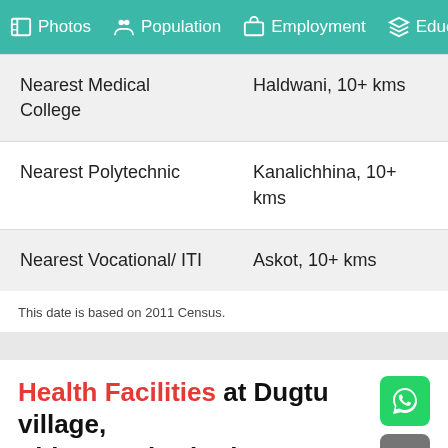Photos  Population  Employment  Educa
|  |  |
| --- | --- |
| Nearest Medical College | Haldwani, 10+ kms |
| Nearest Polytechnic | Kanalichhina, 10+ kms |
| Nearest Vocational/ ITI | Askot, 10+ kms |
This date is based on 2011 Census.
Health Facilities at Dugtu village, Pithoragarh District
Below are the Health facilities available at Dugtu village in